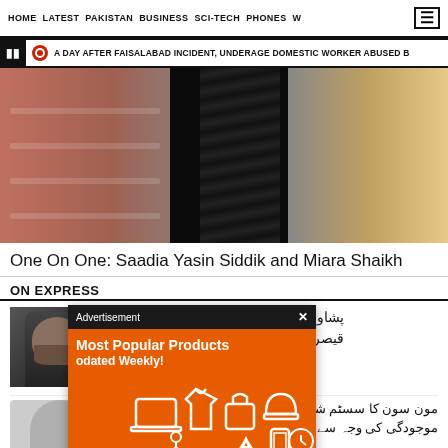HOME  LATEST  PAKISTAN  BUSINESS  SCI-TECH  PHONES  W
A DAY AFTER FAISALABAD INCIDENT, UNDERAGE DOMESTIC WORKER ABUSED B
[Figure (photo): Interior of a shoe store with shelves of shoes on the left, a dark escalator or staircase in the center, and a pink/gold lit area on the right]
One On One: Saadia Yasin Siddik and Miara Shaikh
ON EXPRESS
[Figure (infographic): Advertisement overlay with black header saying 'Advertisement' with X close button, and orange body with 'Most Popular Products' and 'odated Weekly!' text with shopping product icons illustration]
[Figure (photo): Portrait photo of a bearded man in dark formal attire]
پشاور ہائی کورٹ کے قیصر کے
[Figure (photo): Silhouette/grey placeholder portrait photo]
مون سون کا سسٹم شدت کے ساتھ موجودگی کی وجہ سے لتعادل تک پہنچ شوری کا